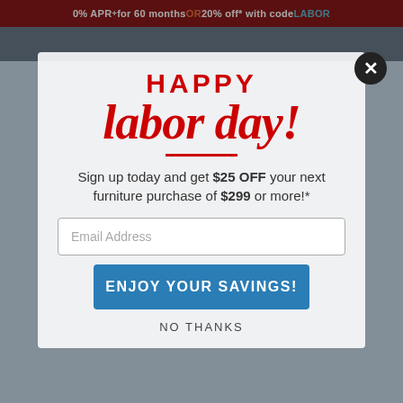0% APR+ for 60 months OR 20% off* with code LABOR
[Figure (screenshot): Website background with navigation bar and city/building imagery behind modal overlay]
HAPPY labor day!
Sign up today and get $25 OFF your next furniture purchase of $299 or more!*
Email Address
ENJOY YOUR SAVINGS!
NO THANKS